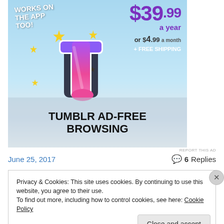[Figure (illustration): Tumblr ad-free browsing advertisement banner with sky blue background, Tumblr 't' logo with sparkles, pricing ($39.99 a year or $4.99 a month + FREE SHIPPING), 'WORKS ON THE APP TOO!' text, and 'TUMBLR AD-FREE BROWSING' at bottom]
REPORT THIS AD
June 25, 2017
6 Replies
Privacy & Cookies: This site uses cookies. By continuing to use this website, you agree to their use.
To find out more, including how to control cookies, see here: Cookie Policy
Close and accept